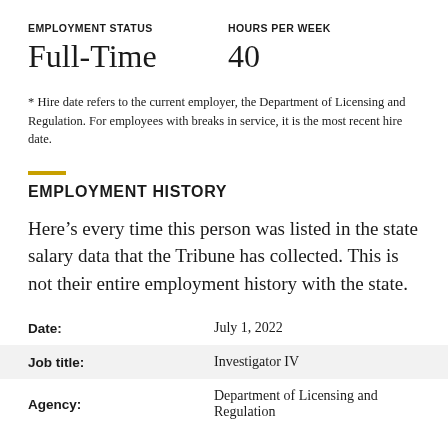EMPLOYMENT STATUS
HOURS PER WEEK
Full-Time
40
* Hire date refers to the current employer, the Department of Licensing and Regulation. For employees with breaks in service, it is the most recent hire date.
EMPLOYMENT HISTORY
Here’s every time this person was listed in the state salary data that the Tribune has collected. This is not their entire employment history with the state.
| Field | Value |
| --- | --- |
| Date: | July 1, 2022 |
| Job title: | Investigator IV |
| Agency: | Department of Licensing and Regulation |